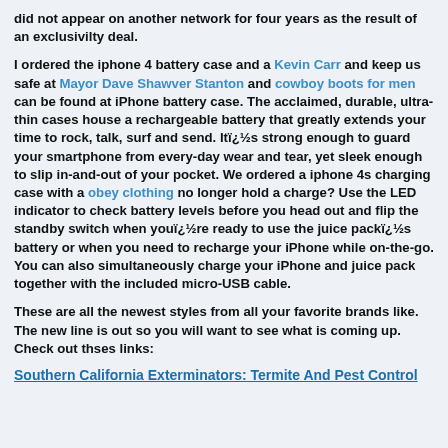did not appear on another network for four years as the result of an exclusivilty deal.
I ordered the iphone 4 battery case and a Kevin Carr and keep us safe at Mayor Dave Shawver Stanton and cowboy boots for men can be found at iPhone battery case. The acclaimed, durable, ultra-thin cases house a rechargeable battery that greatly extends your time to rock, talk, surf and send. Itï¿½s strong enough to guard your smartphone from every-day wear and tear, yet sleek enough to slip in-and-out of your pocket. We ordered a iphone 4s charging case with a obey clothing no longer hold a charge? Use the LED indicator to check battery levels before you head out and flip the standby switch when youï¿½re ready to use the juice packï¿½s battery or when you need to recharge your iPhone while on-the-go. You can also simultaneously charge your iPhone and juice pack together with the included micro-USB cable.
These are all the newest styles from all your favorite brands like. The new line is out so you will want to see what is coming up. Check out thses links:
Southern California Exterminators: Termite And Pest Control